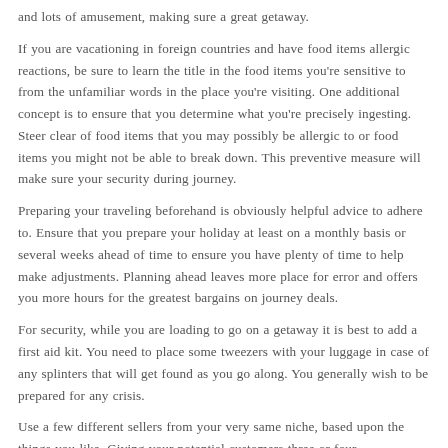and lots of amusement, making sure a great getaway.
If you are vacationing in foreign countries and have food items allergic reactions, be sure to learn the title in the food items you're sensitive to from the unfamiliar words in the place you're visiting. One additional concept is to ensure that you determine what you're precisely ingesting. Steer clear of food items that you may possibly be allergic to or food items you might not be able to break down. This preventive measure will make sure your security during journey.
Preparing your traveling beforehand is obviously helpful advice to adhere to. Ensure that you prepare your holiday at least on a monthly basis or several weeks ahead of time to ensure you have plenty of time to help make adjustments. Planning ahead leaves more place for error and offers you more hours for the greatest bargains on journey deals.
For security, while you are loading to go on a getaway it is best to add a first aid kit. You need to place some tweezers with your luggage in case of any splinters that will get found as you go along. You generally wish to be prepared for any crisis.
Use a few different sellers from your very same niche, based upon the things you like. Giving your potential customers three or four